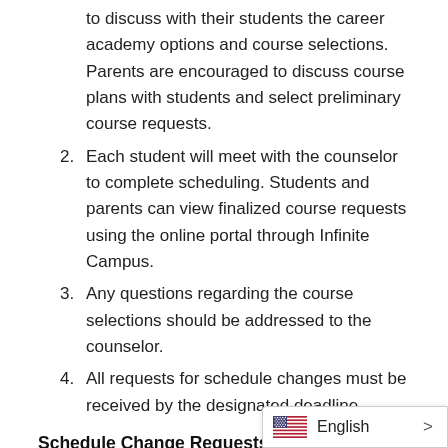to discuss with their students the career academy options and course selections. Parents are encouraged to discuss course plans with students and select preliminary course requests.
Each student will meet with the counselor to complete scheduling. Students and parents can view finalized course requests using the online portal through Infinite Campus.
Any questions regarding the course selections should be addressed to the counselor.
All requests for schedule changes must be received by the designated deadline.
Schedule Change Requests
Because the registration process for the next school year begins early in the school year, ample time is allowed for careful planning by counselors, parents and students. Parents will have an adequate amount o